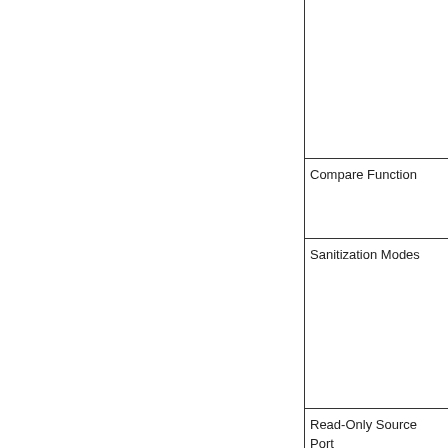|  |  |
|  | Compare Function |
|  | Sanitization Modes |
|  | Read-Only Source Port |